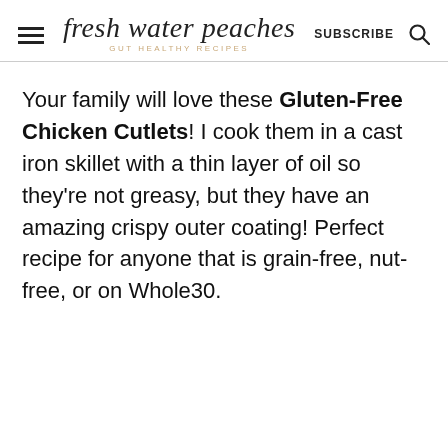fresh water peaches — GUT HEALTHY RECIPES — SUBSCRIBE
Your family will love these Gluten-Free Chicken Cutlets! I cook them in a cast iron skillet with a thin layer of oil so they're not greasy, but they have an amazing crispy outer coating! Perfect recipe for anyone that is grain-free, nut-free, or on Whole30.